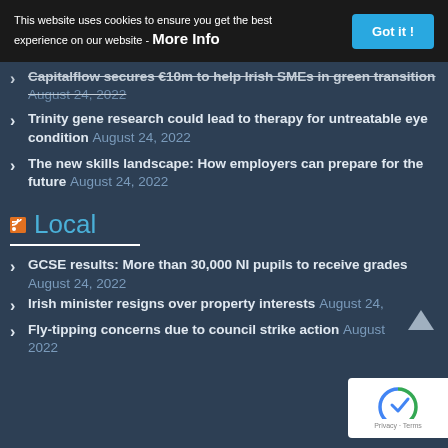This website uses cookies to ensure you get the best experience on our website - More Info | Got it!
Capitalflow secures €10m to help Irish SMEs in green transition August 24, 2022
Trinity gene research could lead to therapy for untreatable eye condition August 24, 2022
The new skills landscape: How employers can prepare for the future August 24, 2022
Local
GCSE results: More than 30,000 NI pupils to receive grades August 24, 2022
Irish minister resigns over property interests August 24, 2022
Fly-tipping concerns due to council strike action August 2022